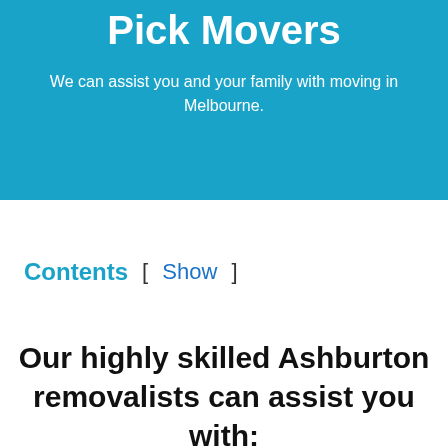Pick Movers
We can assist you and your family with moving in Melbourne.
Contents [ Show ]
Our highly skilled Ashburton removalists can assist you with: